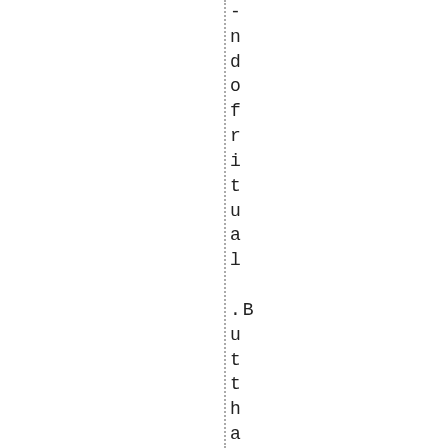-ndofritua l .Butthatispapersonal